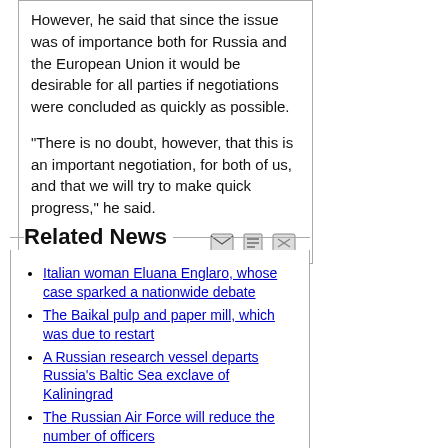However, he said that since the issue was of importance both for Russia and the European Union it would be desirable for all parties if negotiations were concluded as quickly as possible.
"There is no doubt, however, that this is an important negotiation, for both of us, and that we will try to make quick progress," he said.
Related News
Italian woman Eluana Englaro, whose case sparked a nationwide debate
The Baikal pulp and paper mill, which was due to restart
A Russian research vessel departs Russia's Baltic Sea exclave of Kaliningrad
The Russian Air Force will reduce the number of officers
The European Organization for Nuclear Research (CERN) is expected to restart